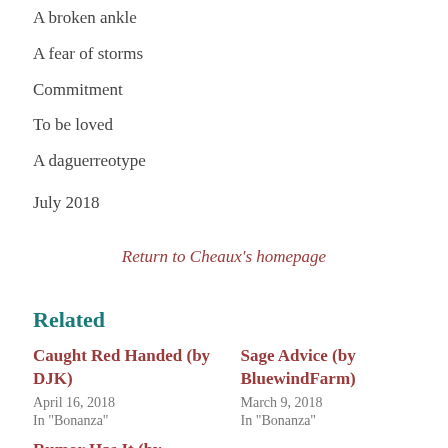A broken ankle
A fear of storms
Commitment
To be loved
A daguerreotype
July 2018
Return to Cheaux's homepage
Related
Caught Red Handed (by DJK)
April 16, 2018
In "Bonanza"
Sage Advice (by BluewindFarm)
March 9, 2018
In "Bonanza"
Rumor Has It (by